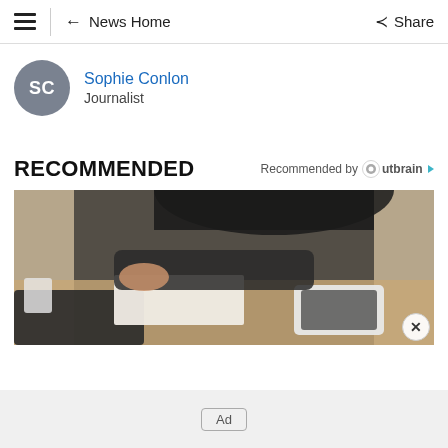≡  ← News Home   Share
SC
Sophie Conlon
Journalist
RECOMMENDED
Recommended by Outbrain
[Figure (photo): Woman in dark blazer sitting at a desk working with a laptop and papers, tablet visible on the desk]
Ad